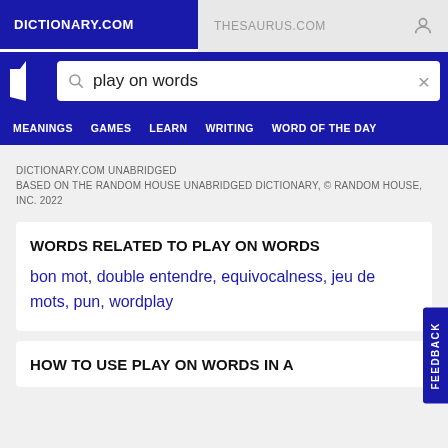DICTIONARY.COM | THESAURUS.COM
play on words
MEANINGS | GAMES | LEARN | WRITING | WORD OF THE DAY
DICTIONARY.COM UNABRIDGED
BASED ON THE RANDOM HOUSE UNABRIDGED DICTIONARY, © RANDOM HOUSE, INC. 2022
WORDS RELATED TO PLAY ON WORDS
bon mot, double entendre, equivocalness, jeu de mots, pun, wordplay
HOW TO USE PLAY ON WORDS IN A